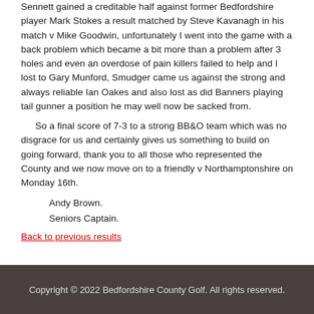Sennett gained a creditable half against former Bedfordshire player Mark Stokes a result matched by Steve Kavanagh in his match v Mike Goodwin, unfortunately I went into the game with a back problem which became a bit more than a problem after 3 holes and even an overdose of pain killers failed to help and I lost to Gary Munford, Smudger came us against the strong and always reliable Ian Oakes and also lost as did Banners playing tail gunner a position he may well now be sacked from.
So a final score of 7-3 to a strong BB&O team which was no disgrace for us and certainly gives us something to build on going forward, thank you to all those who represented the County and we now move on to a friendly v Northamptonshire on Monday 16th.
Andy Brown.
Seniors Captain.
Back to previous results
Copyright © 2022 Bedfordshire County Golf. All rights reserved.